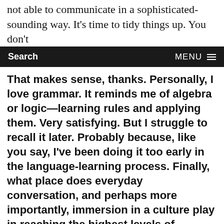not able to communicate in a sophisticated-sounding way. It's time to tidy things up. You don't
Search   MENU
That makes sense, thanks. Personally, I love grammar. It reminds me of algebra or logic—learning rules and applying them. Very satisfying. But I struggle to recall it later. Probably because, like you say, I've been doing it too early in the language-learning process. Finally, what place does everyday conversation, and perhaps more importantly, immersion in a culture play in reaching the highest levels of proficiency?
Well, it really depends on what the goals you have for that language. When people imagine high levels of proficiency, I think they imagine working professionally in the language, which is absolutely